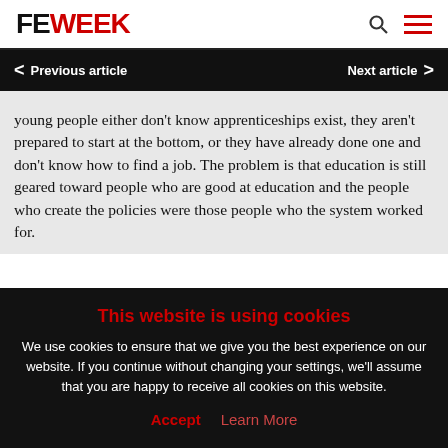FE WEEK
Previous article   Next article
young people either don't know apprenticeships exist, they aren't prepared to start at the bottom, or they have already done one and don't know how to find a job. The problem is that education is still geared toward people who are good at education and the people who create the policies were those people who the system worked for.
This website is using cookies
We use cookies to ensure that we give you the best experience on our website. If you continue without changing your settings, we'll assume that you are happy to receive all cookies on this website.
Accept   Learn More